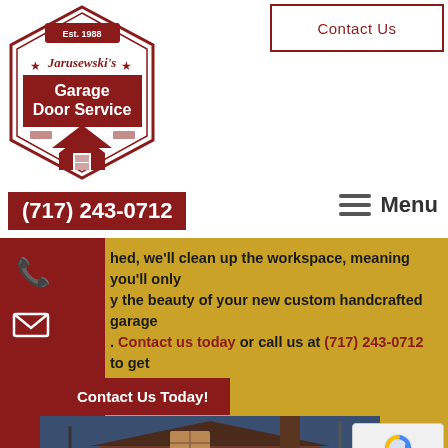[Figure (logo): Jarusewski's Garage Door Service hexagonal logo with red and white design, established 1988]
Contact Us
(717) 243-0712
Menu
hed, we'll clean up the workspace, meaning you'll only y the beauty of your new custom handcrafted garage . Contact us today or call us at (717) 243-0712 to get ed!
Contact Us Today!
[Figure (photo): House exterior with garage door, bare winter trees, brick facade, twilight sky]
[Figure (other): reCAPTCHA widget with Privacy and Terms links]